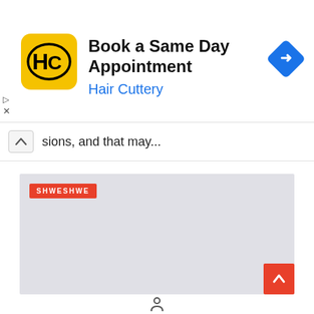[Figure (screenshot): Hair Cuttery advertisement banner with logo, title 'Book a Same Day Appointment', subtitle 'Hair Cuttery', and a blue navigation diamond icon]
sions, and that may...
[Figure (screenshot): Gray placeholder image area with red 'SHWESHWE' label in top-left corner and a red scroll-to-top arrow button in bottom-right]